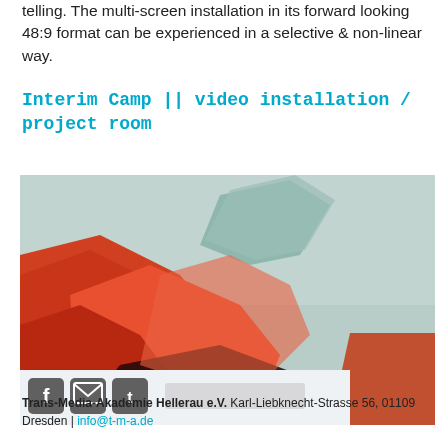telling. The multi-screen installation in its forward looking 48:9 format can be experienced in a selective & non-linear way.
Interim Camp || video installation / project room
[Figure (photo): A video still or artistic photograph with orange/red abstract shapes against a teal/grey background, resembling a landscape or nature scene viewed through an artistic filter.]
Trans-Media-Akademie Hellerau e.V. Karl-Liebknecht-Strasse 56, 01109 Dresden | info@t-m-a.de